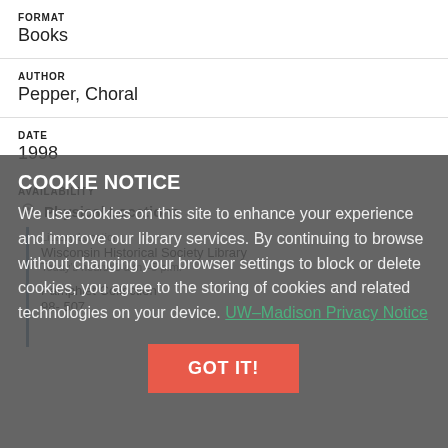FORMAT
Books
AUTHOR
Pepper, Choral
DATE
1998
AVAILABILITY
Physical Locations
Library Location
Wisconsin Historical Society Library
Today's hours: 8 a.m.–5 p.m.
Pamphlet Collection
98- 507
COOKIE NOTICE
We use cookies on this site to enhance your experience and improve our library services. By continuing to browse without changing your browser settings to block or delete cookies, you agree to the storing of cookies and related technologies on your device. UW–Madison Privacy Notice
GOT IT!